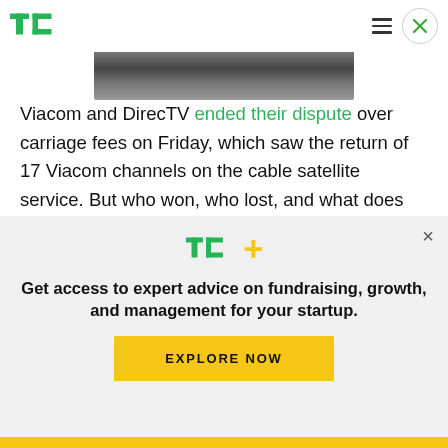TechCrunch logo, hamburger menu, close button
[Figure (photo): Partial photo strip at top of article, showing a dark blurred image]
Viacom and DirecTV ended their dispute over carriage fees on Friday, which saw the return of 17 Viacom channels on the cable satellite service. But who won, who lost, and what does the resolution mean for DirecTV, and for the rest of the industry? Given that Viacom reportedly didn't get what it
[Figure (logo): TechCrunch TC+ modal overlay with logo, promotional text, and Explore Now button]
Get access to expert advice on fundraising, growth, and management for your startup.
EXPLORE NOW